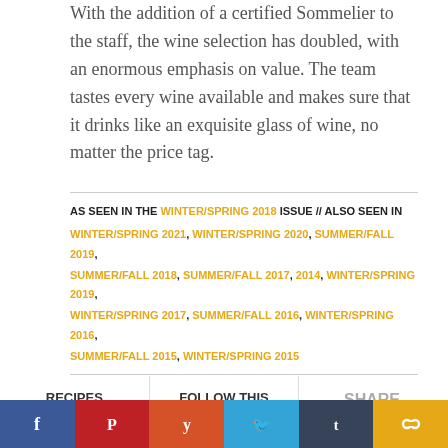With the addition of a certified Sommelier to the staff, the wine selection has doubled, with an enormous emphasis on value. The team tastes every wine available and makes sure that it drinks like an exquisite glass of wine, no matter the price tag.
AS SEEN IN THE WINTER/SPRING 2018 ISSUE // ALSO SEEN IN WINTER/SPRING 2021, WINTER/SPRING 2020, SUMMER/FALL 2019, SUMMER/FALL 2018, SUMMER/FALL 2017, 2014, WINTER/SPRING 2019, WINTER/SPRING 2017, SUMMER/FALL 2016, WINTER/SPRING 2016, SUMMER/FALL 2015, WINTER/SPRING 2015
RECIPES
Bacon
FOLLOW THIS RESTAURANT
SHARE THIS ARTICLE